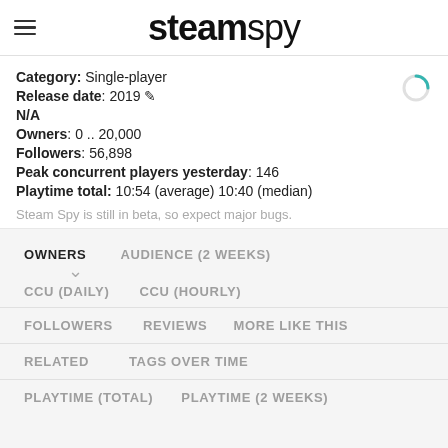steamspy
Category: Single-player
Release date: 2019 ✏
N/A
Owners: 0 .. 20,000
Followers: 56,898
Peak concurrent players yesterday: 146
Playtime total: 10:54 (average) 10:40 (median)
Steam Spy is still in beta, so expect major bugs.
OWNERS
AUDIENCE (2 WEEKS)
CCU (DAILY)
CCU (HOURLY)
FOLLOWERS
REVIEWS
MORE LIKE THIS
RELATED
TAGS OVER TIME
PLAYTIME (TOTAL)
PLAYTIME (2 WEEKS)